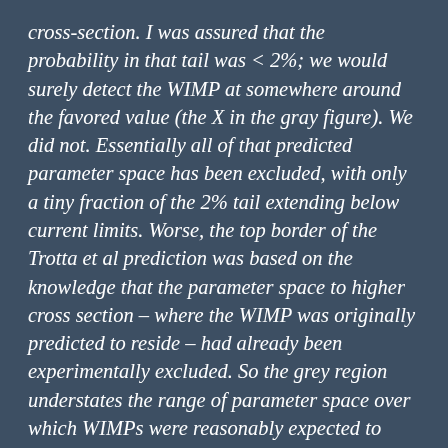cross-section. I was assured that the probability in that tail was < 2%; we would surely detect the WIMP at somewhere around the favored value (the X in the gray figure). We did not. Essentially all of that predicted parameter space has been excluded, with only a tiny fraction of the 2% tail extending below current limits. Worse, the top border of the Trotta et al prediction was based on the knowledge that the parameter space to higher cross section – where the WIMP was originally predicted to reside – had already been experimentally excluded. So the grey region understates the range of parameter space over which WIMPs were reasonably expected to exist. I'm sure there are people who would like to pretend that the right “prediction” for the WIMP is at still lower cross section. That would be an example of how those who are ignorant (or in denial) of history are doomed